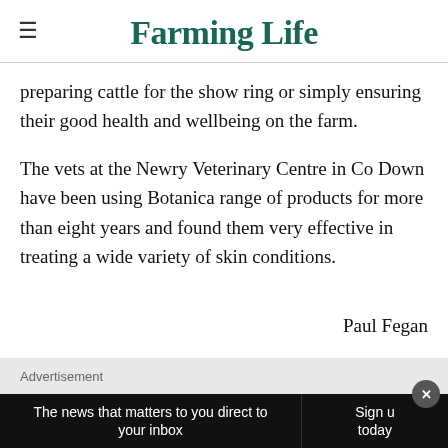Farming Life
preparing cattle for the show ring or simply ensuring their good health and wellbeing on the farm.
The vets at the Newry Veterinary Centre in Co Down have been using Botanica range of products for more than eight years and found them very effective in treating a wide variety of skin conditions.
Advertisement
Paul Fegan
The news that matters to you direct to your inbox | Sign up today